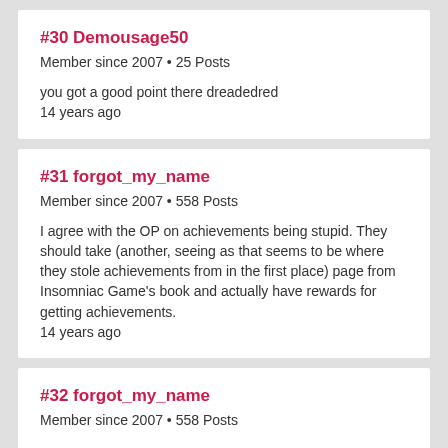#30 Demousage50
Member since 2007 • 25 Posts
you got a good point there dreadedred
14 years ago
#31 forgot_my_name
Member since 2007 • 558 Posts
I agree with the OP on achievements being stupid. They should take (another, seeing as that seems to be where they stole achievements from in the first place) page from Insomniac Game's book and actually have rewards for getting achievements.
14 years ago
#32 forgot_my_name
Member since 2007 • 558 Posts